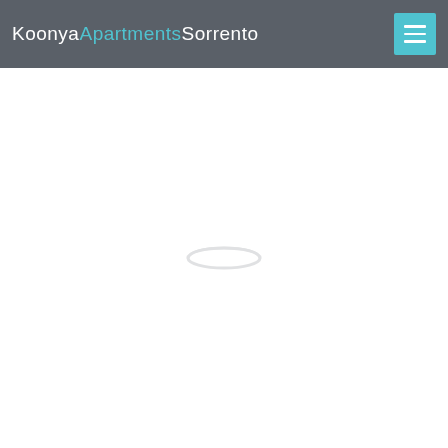Koonya Apartments Sorrento
[Figure (other): Loading spinner or faint decorative icon centered in the white content area below the header]